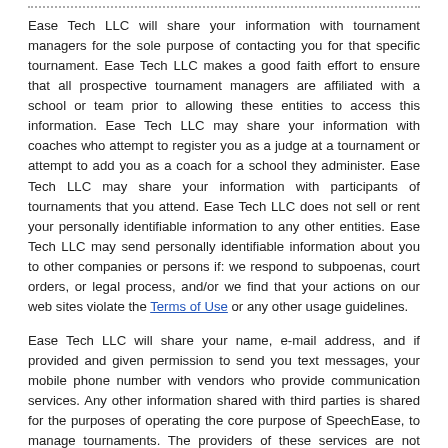Ease Tech LLC will share your information with tournament managers for the sole purpose of contacting you for that specific tournament. Ease Tech LLC makes a good faith effort to ensure that all prospective tournament managers are affiliated with a school or team prior to allowing these entities to access this information. Ease Tech LLC may share your information with coaches who attempt to register you as a judge at a tournament or attempt to add you as a coach for a school they administer. Ease Tech LLC may share your information with participants of tournaments that you attend. Ease Tech LLC does not sell or rent your personally identifiable information to any other entities. Ease Tech LLC may send personally identifiable information about you to other companies or persons if: we respond to subpoenas, court orders, or legal process, and/or we find that your actions on our web sites violate the Terms of Use or any other usage guidelines.
Ease Tech LLC will share your name, e-mail address, and if provided and given permission to send you text messages, your mobile phone number with vendors who provide communication services. Any other information shared with third parties is shared for the purposes of operating the core purpose of SpeechEase, to manage tournaments. The providers of these services are not allowed to use personally your information. Besides...